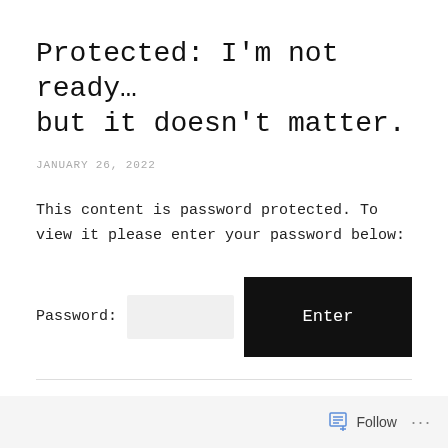Protected: I'm not ready… but it doesn't matter.
JANUARY 26, 2022
This content is password protected. To view it please enter your password below:
[Figure (screenshot): Password input field with an 'Enter' button]
Follow ...